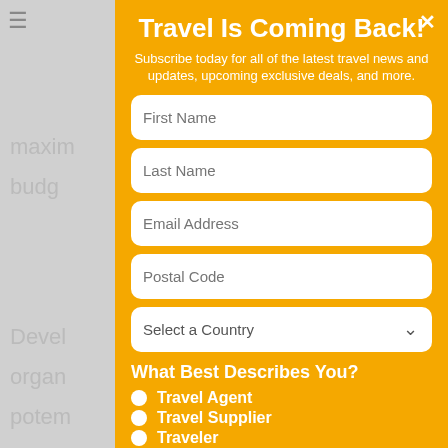[Figure (screenshot): Background webpage content partially visible behind modal overlay, showing gray text snippets: 'maxim', 'oject', 'budg', 'Devel', 'organ', 'e', 'potem', 'nt', 'touris', 'ct.', 'The m', 'al', 'proje', 'All int', 'ines,', 'and m', 'Applie', 'Progr', 'ual']
Travel Is Coming Back!
Subscribe today for all of the latest travel news and updates, upcoming exclusive deals, and more.
First Name
Last Name
Email Address
Postal Code
Select a Country
What Best Describes You?
Travel Agent
Travel Supplier
Traveler